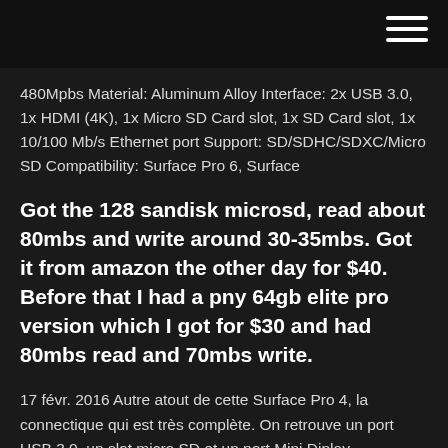480Mpbs Material: Aluminum Alloy Interface: 2x USB 3.0, 1x HDMI (4K), 1x Micro SD Card slot, 1x SD Card slot, 1x 10/100 Mb/s Ethernet port Support: SD/SDHC/SDXC/Micro SD Compatibility: Surface Pro 6, Surface
Got the 128 sandisk microsd, read about 80mbs and write around 30-35mbs. Got it from amazon the other day for $40. Before that I had a pny 64gb elite pro version which I got for $30 and had 80mbs read and 70mbs write.
17 févr. 2016 Autre atout de cette Surface Pro 4, la connectique qui est très complète. On retrouve un port USB 3.0, un slot micro SD et un port Mini Diplay